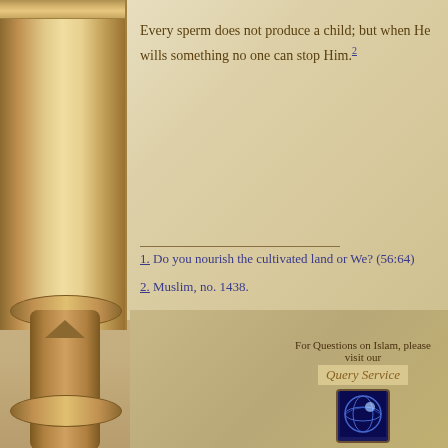Every sperm does not produce a child; but when He wills something no one can stop Him.[2]
1. Do you nourish the cultivated land or We? (56:64)
2. Muslim, no. 1438.
For Questions on Islam, please visit our Query Service